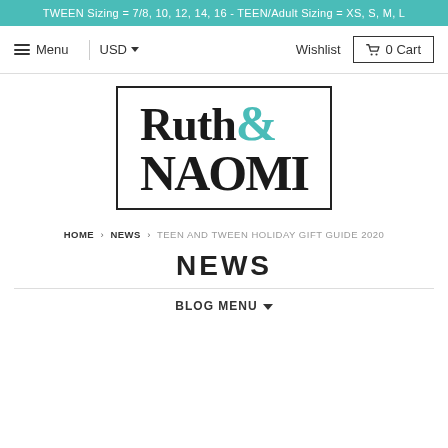TWEEN Sizing = 7/8, 10, 12, 14, 16 - TEEN/Adult Sizing = XS, S, M, L
Menu   USD   Wishlist   0 Cart
[Figure (logo): Ruth & NAOMI brand logo in a rectangular border. 'Ruth' and 'NAOMI' in serif bold black font, ampersand in teal.]
HOME › NEWS › TEEN AND TWEEN HOLIDAY GIFT GUIDE 2020
NEWS
BLOG MENU ▼